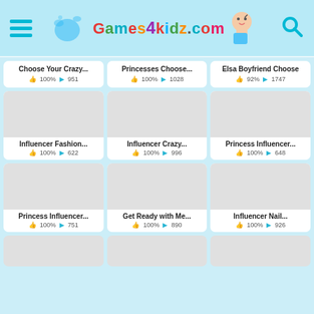[Figure (screenshot): Games4Kidz website header with hamburger menu, logo, and search icon]
Choose Your Crazy... 100% 951
Princesses Choose... 100% 1028
Elsa Boyfriend Choose 92% 1747
[Figure (photo): Influencer Fashion game thumbnail (blank/loading)]
Influencer Fashion... 100% 622
[Figure (photo): Influencer Crazy game thumbnail (blank/loading)]
Influencer Crazy... 100% 996
[Figure (photo): Princess Influencer game thumbnail (blank/loading)]
Princess Influencer... 100% 648
[Figure (photo): Princess Influencer game thumbnail row 3 (blank/loading)]
Princess Influencer... 100% 751
[Figure (photo): Get Ready with Me game thumbnail (blank/loading)]
Get Ready with Me... 100% 890
[Figure (photo): Influencer Nail game thumbnail (blank/loading)]
Influencer Nail... 100% 926